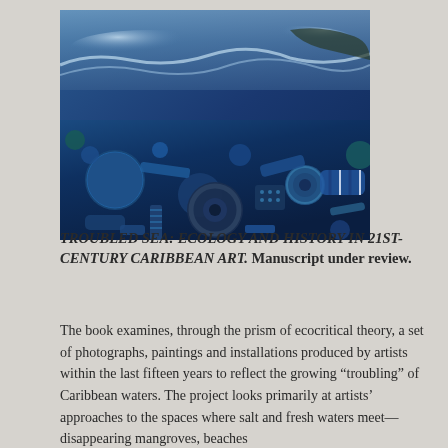[Figure (photo): Photograph of blue-tinted ocean plastic debris and garbage washed ashore on a beach, with waves visible in the background. The image has a strong blue color cast showing various plastic items including containers, wheels, and other refuse.]
TROUBLED SEA: ECOLOGY AND HISTORY IN 21ST-CENTURY CARIBBEAN ART. Manuscript under review.
The book examines, through the prism of ecocritical theory, a set of photographs, paintings and installations produced by artists within the last fifteen years to reflect the growing “troubling” of Caribbean waters. The project looks primarily at artists’ approaches to the spaces where salt and fresh waters meet—disappearing mangroves, beaches